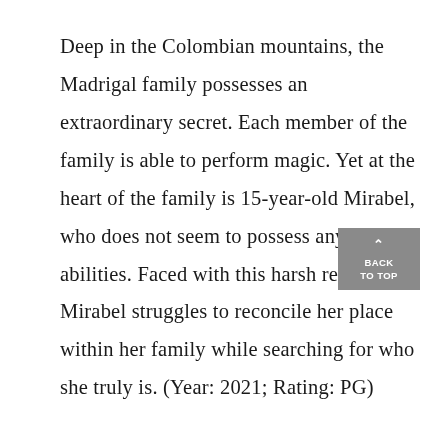Deep in the Colombian mountains, the Madrigal family possesses an extraordinary secret. Each member of the family is able to perform magic. Yet at the heart of the family is 15-year-old Mirabel, who does not seem to possess any unusual abilities. Faced with this harsh reality, Mirabel struggles to reconcile her place within her family while searching for who she truly is. (Year: 2021; Rating: PG)